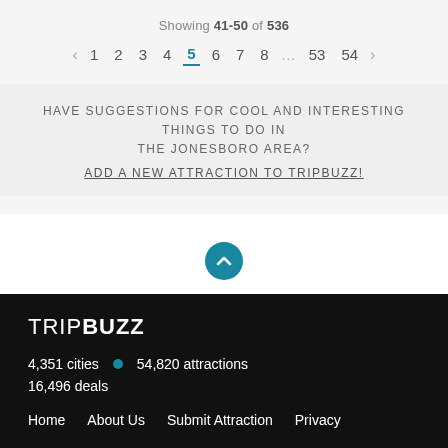Showing 41-50 of 536
< 1 2 3 4 5 6 7 8 ... 53 54 >
HAVE SUGGESTIONS FOR COOL AND INTERESTING THINGS TO DO IN THE JONESBORO AREA?
ADD A NEW ATTRACTION TO TRIPBUZZ!
[Figure (illustration): Blue circle with upward-pointing chevron arrow icon (back to top button)]
TRIPBUZZ
4,351 cities • 54,820 attractions
16,496 deals
Home  About Us  Submit Attraction  Privacy